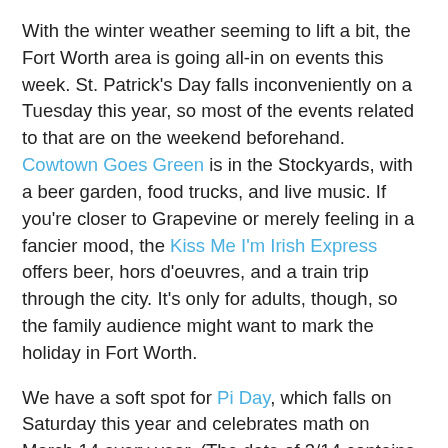With the winter weather seeming to lift a bit, the Fort Worth area is going all-in on events this week. St. Patrick's Day falls inconveniently on a Tuesday this year, so most of the events related to that are on the weekend beforehand. Cowtown Goes Green is in the Stockyards, with a beer garden, food trucks, and live music. If you're closer to Grapevine or merely feeling in a fancier mood, the Kiss Me I'm Irish Express offers beer, hors d'oeuvres, and a train trip through the city. It's only for adults, though, so the family audience might want to mark the holiday in Fort Worth.
We have a soft spot for Pi Day, which falls on Saturday this year and celebrates math on March 14 every year. (The date of 3/14 contains the first three digits of the mathematical constant. It also happens to be Albert Einstein's birthday.) A physicist named Larry Shaw inaugurated the holiday in 1988 in the San Francisco Exploratorium with a party where he served pie. Similar celebrations will be happening at the Fort Worth Museum of Science and History, where there will be pi- and pie-related activities with members of the local